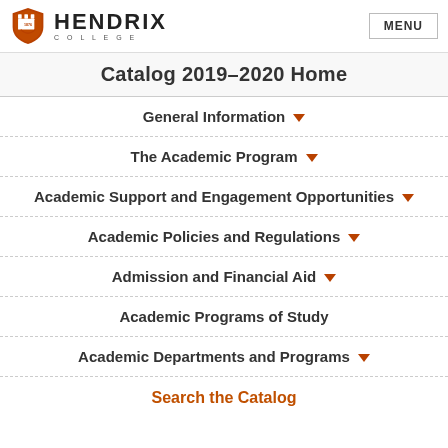HENDRIX COLLEGE | MENU
Catalog 2019–2020 Home
General Information
The Academic Program
Academic Support and Engagement Opportunities
Academic Policies and Regulations
Admission and Financial Aid
Academic Programs of Study
Academic Departments and Programs
Search the Catalog